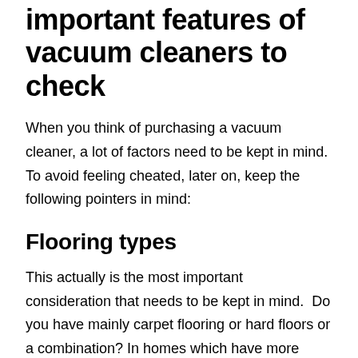important features of vacuum cleaners to check
When you think of purchasing a vacuum cleaner, a lot of factors need to be kept in mind. To avoid feeling cheated, later on, keep the following pointers in mind:
Flooring types
This actually is the most important consideration that needs to be kept in mind.  Do you have mainly carpet flooring or hard floors or a combination? In homes which have more carpeting, the vacuum that you need would be an